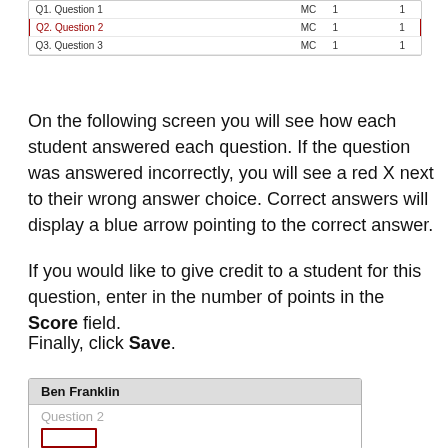|  |  |  |
| --- | --- | --- |
| Q1. Question 1 | MC | 1 | 1 |
| Q2. Question 2 | MC | 1 | 1 |
| Q3. Question 3 | MC | 1 | 1 |
On the following screen you will see how each student answered each question.  If the question was answered incorrectly, you will see a red X next to their wrong answer choice.  Correct answers will display a blue arrow pointing to the correct answer.
If you would like to give credit to a student for this question, enter in the number of points in the Score field.
Finally, click Save.
[Figure (screenshot): Screenshot of a student grading interface showing Ben Franklin's name in a header, 'Question 2' label in gray text, and a red-bordered input box at the bottom.]